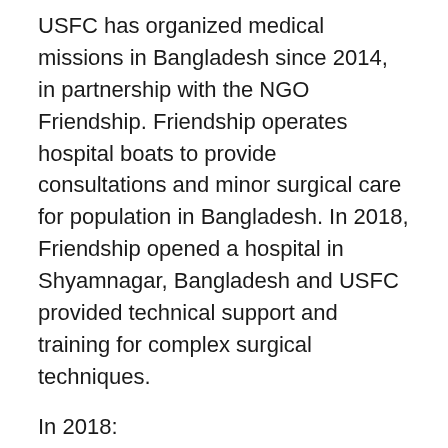USFC has organized medical missions in Bangladesh since 2014, in partnership with the NGO Friendship. Friendship operates hospital boats to provide consultations and minor surgical care for population in Bangladesh. In 2018, Friendship opened a hospital in Shyamnagar, Bangladesh and USFC provided technical support and training for complex surgical techniques.
In 2018:
USFC carried out four surgical missions to train Bangladesh healthcare processionals in orthopedic surgery, plastic surgery, visceral surgery and cardiology. During these medical missions USFC also organized general health consultations.
In 2018, USFC treated 464 people and